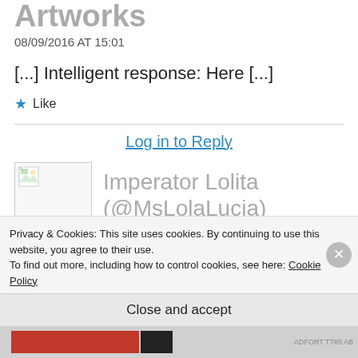Artworks
08/09/2016 AT 15:01
[...] Intelligent response: Here [...]
★ Like
Log in to Reply
[Figure (photo): Avatar placeholder image for user Imperator Lolita (@MsLolaLucia)]
Imperator Lolita (@MsLolaLucia)
Privacy & Cookies: This site uses cookies. By continuing to use this website, you agree to their use.
To find out more, including how to control cookies, see here: Cookie Policy
Close and accept